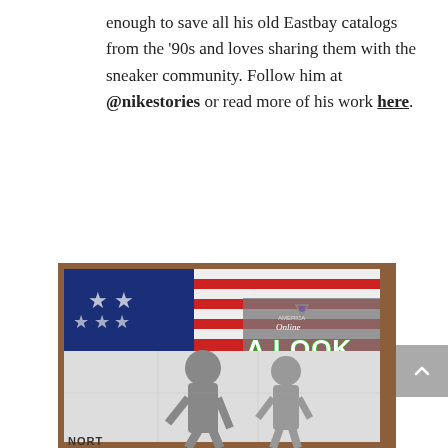enough to save all his old Eastbay catalogs from the '90s and loves sharing them with the sneaker community. Follow him at @nikestories or read more of his work here.
[Figure (photo): A magazine or catalog page showing 'A Look Back w/ Drew Hammell' with America Online logo, laid on a wooden surface. Background shows American flag imagery with athletes in black and white.]